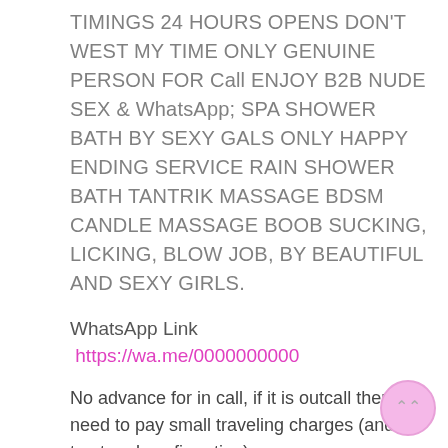TIMINGS 24 HOURS OPENS DON'T WEST MY TIME ONLY GENUINE PERSON FOR Call ENJOY B2B NUDE SEX & WhatsApp; SPA SHOWER BATH BY SEXY GALS ONLY HAPPY ENDING SERVICE RAIN SHOWER BATH TANTRIK MASSAGE BDSM CANDLE MASSAGE BOOB SUCKING, LICKING, BLOW JOB, BY BEAUTIFUL AND SEXY GIRLS.
WhatsApp Link  https://wa.me/0000000000
No advance for in call, if it is outcall then u need to pay small traveling charges (and for trust and confirmation).
Amit Reddy 8826553909 Call me to get girls for fun time in Delhi NCR
SERVICE TYPE:
1. INCALL AND OUTCALL AVAILABLE 24/7 HOURS.